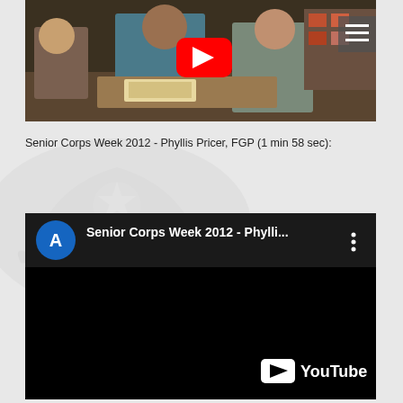[Figure (screenshot): YouTube video thumbnail showing a classroom scene with a teacher helping children, with YouTube play button overlay and hamburger menu icon in top right]
Senior Corps Week 2012 - Phyllis Pricer, FGP (1 min 58 sec):
[Figure (screenshot): Embedded YouTube video player showing 'Senior Corps Week 2012 - Phylli...' with AARP-style blue circular logo, video title bar, black video area, and YouTube logo in bottom right]